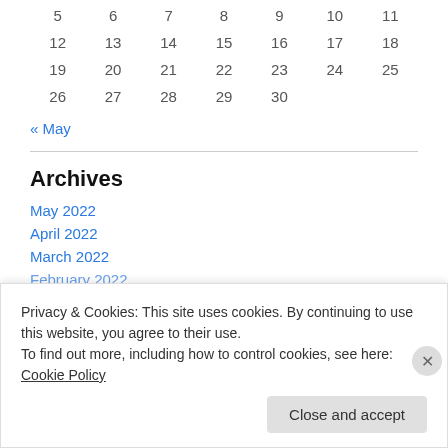| 5 | 6 | 7 | 8 | 9 | 10 | 11 |
| 12 | 13 | 14 | 15 | 16 | 17 | 18 |
| 19 | 20 | 21 | 22 | 23 | 24 | 25 |
| 26 | 27 | 28 | 29 | 30 |  |  |
« May
Archives
May 2022
April 2022
March 2022
February 2022
Privacy & Cookies: This site uses cookies. By continuing to use this website, you agree to their use. To find out more, including how to control cookies, see here: Cookie Policy
Close and accept